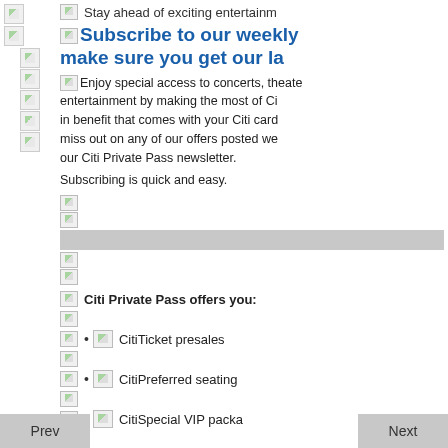Stay ahead of exciting entertainment
Subscribe to our weekly make sure you get our la
Enjoy special access to concerts, theater entertainment by making the most of Ci in benefit that comes with your Citi card miss out on any of our offers posted we our Citi Private Pass newsletter.
Subscribing is quick and easy.
Citi Private Pass offers you:
CitiTicket presales
CitiPreferred seating
CitiSpecial VIP packa
Prev
Next